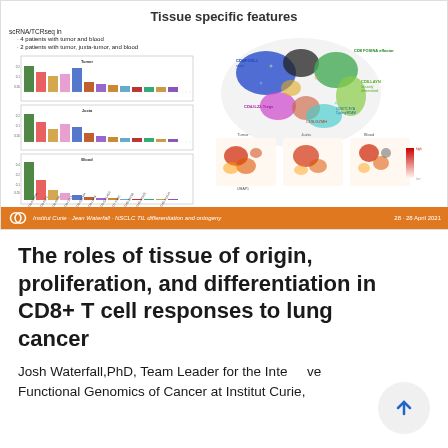[Figure (other): Slide titled 'Tissue specific features' showing grouped bar charts of CD8 T cell subsets across tumor, juxta-tumor and blood tissues (left panel), and a UMAP scatter plot with cell cluster annotations and density heatmaps for Tumor, Juxta, and Blood tissues (right panel). scRNA/TCRseq from 4 patients with tumor and blood and 2 patients with tumor, juxta-tumor, and blood. Footer: Institut Curie · Josh Waterfall · NSCLC TIL differentiation and ontogeny, 28 April 2021.]
The roles of tissue of origin, proliferation, and differentiation in CD8+ T cell responses to lung cancer
Josh Waterfall,PhD, Team Leader for the Integrative Functional Genomics of Cancer at Institut Curie,